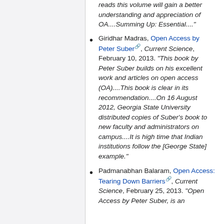reads this volume will gain a better understanding and appreciation of OA....Summing Up: Essential...." (partial, continuation from previous item)
Giridhar Madras, Open Access by Peter Suber, Current Science, February 10, 2013. "This book by Peter Suber builds on his excellent work and articles on open access (OA)....This book is clear in its recommendation....On 16 August 2012, Georgia State University distributed copies of Suber's book to new faculty and administrators on campus....It is high time that Indian institutions follow the [George State] example."
Padmanabhan Balaram, Open Access: Tearing Down Barriers, Current Science, February 25, 2013. "Open Access by Peter Suber, is an (partial)